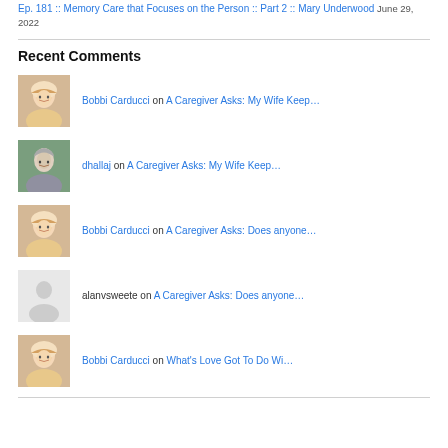Ep. 181 :: Memory Care that Focuses on the Person :: Part 2 :: Mary Underwood June 29, 2022
Recent Comments
Bobbi Carducci on A Caregiver Asks: My Wife Keep…
dhallaj on A Caregiver Asks: My Wife Keep…
Bobbi Carducci on A Caregiver Asks: Does anyone…
alanvsweete on A Caregiver Asks: Does anyone…
Bobbi Carducci on What's Love Got To Do Wi…